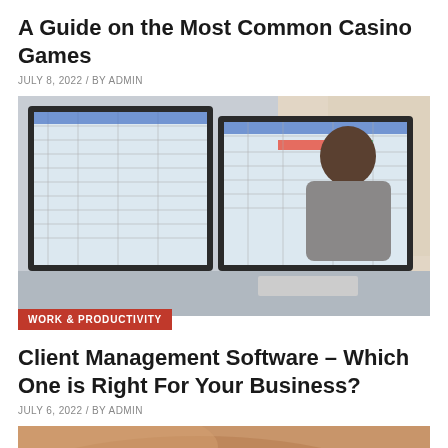A Guide on the Most Common Casino Games
JULY 8, 2022 / BY ADMIN
[Figure (photo): Person working at a desk with two large monitors showing spreadsheets]
WORK & PRODUCTIVITY
Client Management Software – Which One is Right For Your Business?
JULY 6, 2022 / BY ADMIN
[Figure (photo): Close-up of a person's arm/shoulder, partial body shot]